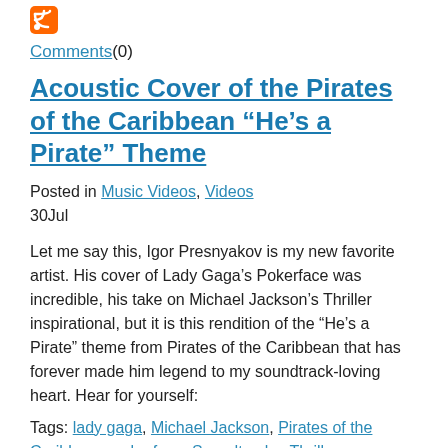RSS icon bullet
Comments(0)
Acoustic Cover of the Pirates of the Caribbean “He’s a Pirate” Theme
Posted in Music Videos, Videos
30Jul
Let me say this, Igor Presnyakov is my new favorite artist. His cover of Lady Gaga’s Pokerface was incredible, his take on Michael Jackson’s Thriller inspirational, but it is this rendition of the “He’s a Pirate” theme from Pirates of the Caribbean that has forever made him legend to my soundtrack-loving heart. Hear for yourself:
Tags: lady gaga, Michael Jackson, Pirates of the Caribbean, pokerface, Soundtracks, Thriller